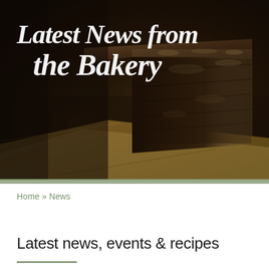[Figure (photo): Hero image of a chocolate loaf/cake on parchment paper, dark moody background, with script text overlay reading 'Latest News from the Bakery']
Latest News from the Bakery
Home » News
Latest news, events & recipes